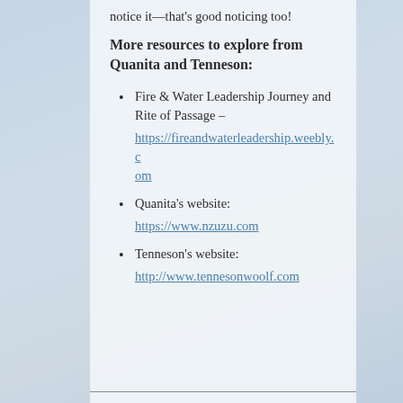notice it—that's good noticing too!
More resources to explore from Quanita and Tenneson:
Fire & Water Leadership Journey and Rite of Passage – https://fireandwaterleadership.weebly.com
Quanita's website: https://www.nzuzu.com
Tenneson's website: http://www.tennesonwoolf.com